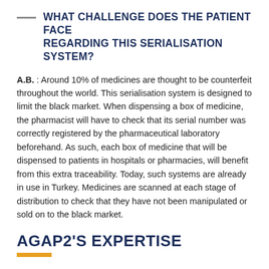WHAT CHALLENGE DOES THE PATIENT FACE REGARDING THIS SERIALISATION SYSTEM?
A.B. : Around 10% of medicines are thought to be counterfeit throughout the world. This serialisation system is designed to limit the black market. When dispensing a box of medicine, the pharmacist will have to check that its serial number was correctly registered by the pharmaceutical laboratory beforehand. As such, each box of medicine that will be dispensed to patients in hospitals or pharmacies, will benefit from this extra traceability. Today, such systems are already in use in Turkey. Medicines are scanned at each stage of distribution to check that they have not been manipulated or sold on to the black market.
AGAP2'S EXPERTISE
Aymeric M., an agap2 consultant with Aguettant, is supporting the laboratory with their implementation of